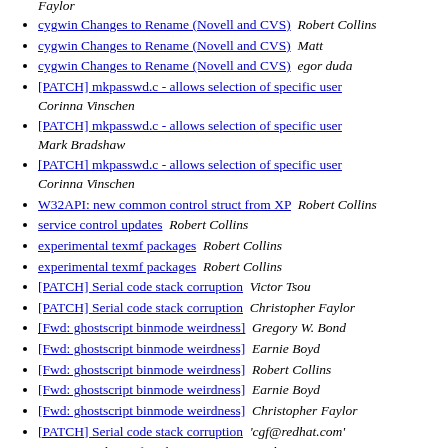Faylor
cygwin Changes to Rename (Novell and CVS)  Robert Collins
cygwin Changes to Rename (Novell and CVS)  Matt
cygwin Changes to Rename (Novell and CVS)  egor duda
[PATCH] mkpasswd.c - allows selection of specific user  Corinna Vinschen
[PATCH] mkpasswd.c - allows selection of specific user  Mark Bradshaw
[PATCH] mkpasswd.c - allows selection of specific user  Corinna Vinschen
W32API: new common control struct from XP  Robert Collins
service control updates  Robert Collins
experimental texmf packages  Robert Collins
experimental texmf packages  Robert Collins
[PATCH] Serial code stack corruption  Victor Tsou
[PATCH] Serial code stack corruption  Christopher Faylor
[Fwd: ghostscript binmode weirdness]  Gregory W. Bond
[Fwd: ghostscript binmode weirdness]  Earnie Boyd
[Fwd: ghostscript binmode weirdness]  Robert Collins
[Fwd: ghostscript binmode weirdness]  Earnie Boyd
[Fwd: ghostscript binmode weirdness]  Christopher Faylor
[PATCH] Serial code stack corruption  'cgf@redhat.com'
experimental texmf packages  Jan Nieuwenhuizen